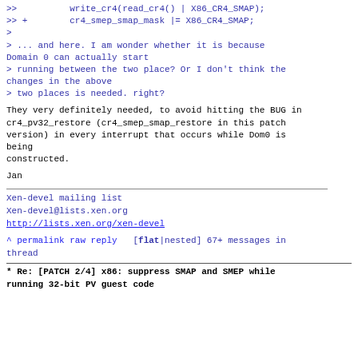>>          write_cr4(read_cr4() | X86_CR4_SMAP);
>> +        cr4_smep_smap_mask |= X86_CR4_SMAP;
>
> ... and here. I am wonder whether it is because Domain 0 can actually start
> running between the two place? Or I don't think the changes in the above
> two places is needed. right?
They very definitely needed, to avoid hitting the BUG in
cr4_pv32_restore (cr4_smep_smap_restore in this patch version) in every interrupt that occurs while Dom0 is being
constructed.
Jan
Xen-devel mailing list
Xen-devel@lists.xen.org
http://lists.xen.org/xen-devel
^ permalink raw reply   [flat|nested] 67+ messages in thread
* Re: [PATCH 2/4] x86: suppress SMAP and SMEP while running 32-bit PV guest code